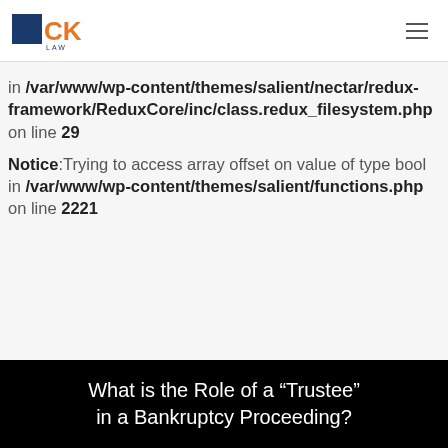JCK LAW
in /var/www/wp-content/themes/salient/nectar/redux-framework/ReduxCore/inc/class.redux_filesystem.php on line 29
Notice: Trying to access array offset on value of type bool in /var/www/wp-content/themes/salient/functions.php on line 2221
What is the Role of a “Trustee” in a Bankruptcy Proceeding?